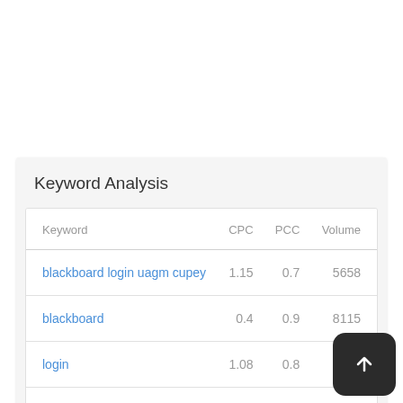Keyword Analysis
| Keyword | CPC | PCC | Volume |
| --- | --- | --- | --- |
| blackboard login uagm cupey | 1.15 | 0.7 | 5658 |
| blackboard | 0.4 | 0.9 | 8115 |
| login | 1.08 | 0.8 | 3... |
| uagm | 1.87 | 0.4 | 3009 |